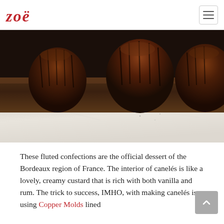zoë
[Figure (photo): Close-up photo of three dark brown canelés (fluted French pastries) arranged on a dark wooden board, shot at a low angle against a light grey/white marble surface.]
These fluted confections are the official dessert of the Bordeaux region of France. The interior of canelés is like a lovely, creamy custard that is rich with both vanilla and rum. The trick to success, IMHO, with making canelés is using Copper Molds lined